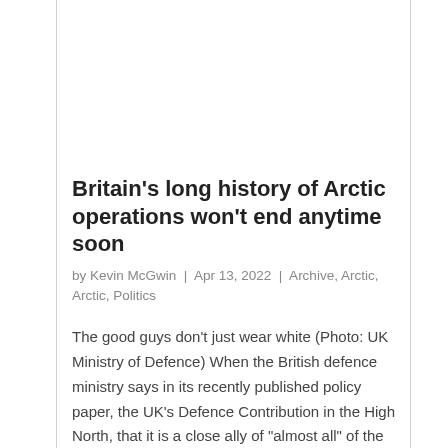Britain's long history of Arctic operations won't end anytime soon
by Kevin McGwin | Apr 13, 2022 | Archive, Arctic, Arctic, Politics
The good guys don't just wear white (Photo: UK Ministry of Defence) When the British defence ministry says in its recently published policy paper, the UK's Defence Contribution in the High North, that it is a close ally of "almost all" of the countries of the...